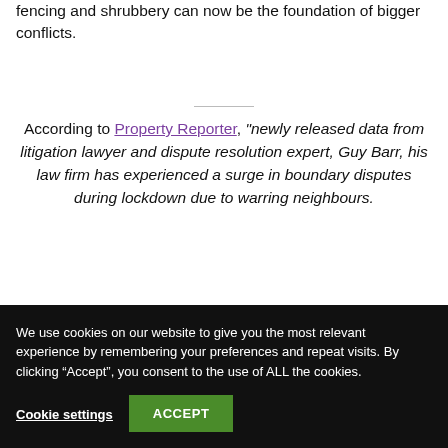fencing and shrubbery can now be the foundation of bigger conflicts.
According to Property Reporter, “newly released data from litigation lawyer and dispute resolution expert, Guy Barr, his law firm has experienced a surge in boundary disputes during lockdown due to warring neighbours.
We use cookies on our website to give you the most relevant experience by remembering your preferences and repeat visits. By clicking “Accept”, you consent to the use of ALL the cookies.
Cookie settings
ACCEPT